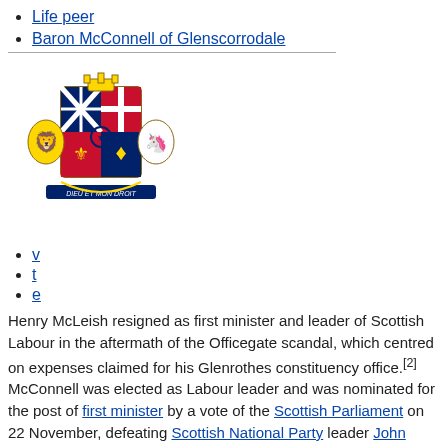Life peer
Baron McConnell of Glenscorrodale
[Figure (illustration): Royal coat of arms of the United Kingdom]
v
t
e
Henry McLeish resigned as first minister and leader of Scottish Labour in the aftermath of the Officegate scandal, which centred on expenses claimed for his Glenrothes constituency office.[2] McConnell was elected as Labour leader and was nominated for the post of first minister by a vote of the Scottish Parliament on 22 November, defeating Scottish National Party leader John Swinney, Scottish Conservative leader David McLetchie and Independent MSP Dennis Canavan by 70 votes to 34, 19 and 3 respectively.[3]
Shortly after being appointed McConnell began making appointments to his cabinet. Jim Wallace remained in the post of